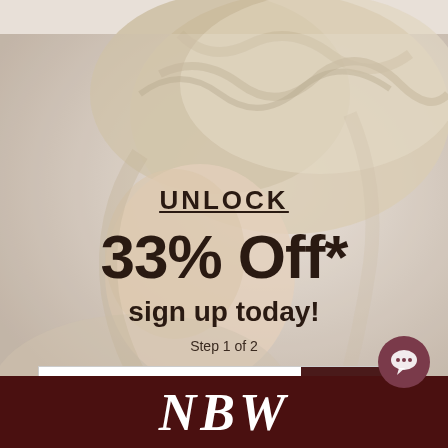[Figure (photo): Background photo of a woman with short blonde wavy hair, face turned away, light beige/cream toned image]
UNLOCK
33% Off*
sign up today!
Step 1 of 2
Enter your favorite email
Continue
Terms & Conditions | Privacy Policy |*Some Exclusions Apply
[Figure (logo): NBW logo in white serif italic letters on dark maroon/burgundy background footer bar]